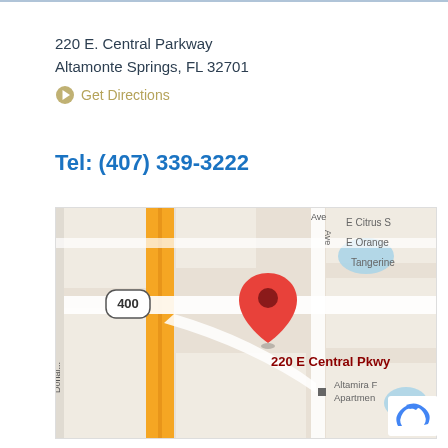220 E. Central Parkway
Altamonte Springs, FL 32701
Get Directions
Tel: (407) 339-3222
[Figure (map): Google Maps screenshot showing 220 E Central Pkwy location in Altamonte Springs FL, with a red map pin marker, highway 400 visible on the left, and street labels including E Citrus, E Orange, Tangerine, and Altamira F Apartments.]